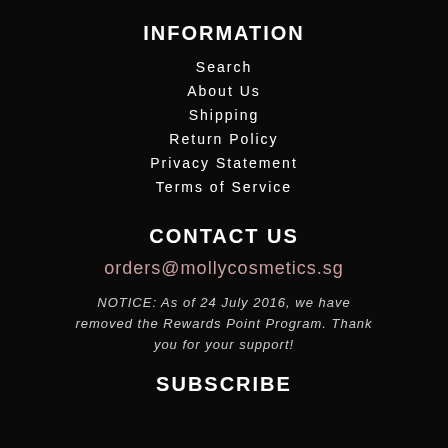INFORMATION
Search
About Us
Shipping
Return Policy
Privacy Statement
Terms of Service
CONTACT US
orders@mollycosmetics.sg
NOTICE: As of 24 July 2016, we have removed the Rewards Point Program. Thank you for your support!
SUBSCRIBE